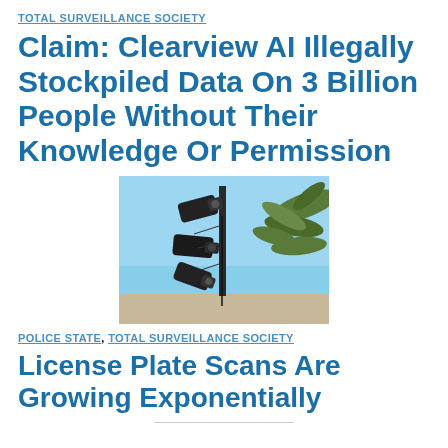TOTAL SURVEILLANCE SOCIETY
Claim: Clearview AI Illegally Stockpiled Data On 3 Billion People Without Their Knowledge Or Permission
[Figure (photo): Multiple surveillance cameras mounted on a pole against a blue sky with palm tree fronds visible in the background.]
POLICE STATE, TOTAL SURVEILLANCE SOCIETY
License Plate Scans Are Growing Exponentially